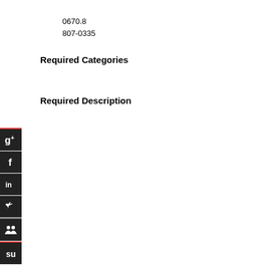0670.8
807-0335
Required Categories
Required Description
[Figure (illustration): Vertical stack of 6 social media icon buttons: Google+, Facebook, LinkedIn, Twitter, Bookmarks, StumbleUpon — dark rounded square buttons with white icons on left edge of page]